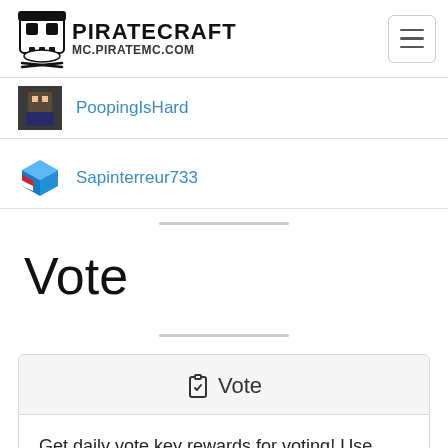PIRATECRAFT MC.PIRATEMC.COM
PoopingIsHard
Sapinterreur733
Vote
Vote
Get daily vote key rewards for voting! Use your keys at /warp cove